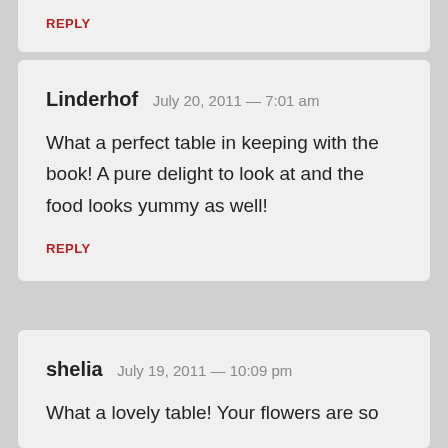REPLY
Linderhof  July 20, 2011 — 7:01 am
What a perfect table in keeping with the book! A pure delight to look at and the food looks yummy as well!
REPLY
shelia  July 19, 2011 — 10:09 pm
What a lovely table! Your flowers are so